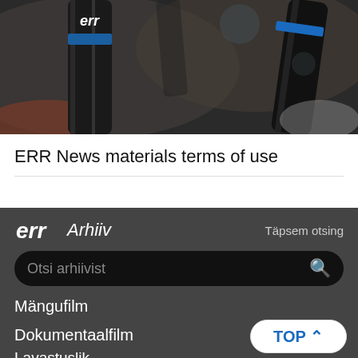[Figure (photo): Photo of ERR branded microphones, dark background with blue accent stripe visible]
ERR News materials terms of use
[Figure (screenshot): ERR Arhiiv dark navigation interface with search box, menu items: Indeks A-Ü (1920-2015), Mängufilm, Dokumentaalfilm, Lavastuslik, Uudised, and a TOP button]
Indeks A-Ü   1920-2015
Mängufilm
Dokumentaalfilm
Lavastuslik
Uudised